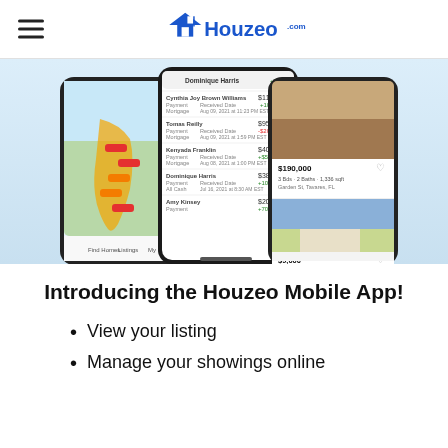Houzeo.com
[Figure (screenshot): Three smartphone screens showing the Houzeo mobile app: left phone displays a map of Florida with property price markers, center phone shows a list of offers/transactions with names and dollar amounts, right phone shows property listings with house photos.]
Introducing the Houzeo Mobile App!
View your listing
Manage your showings online